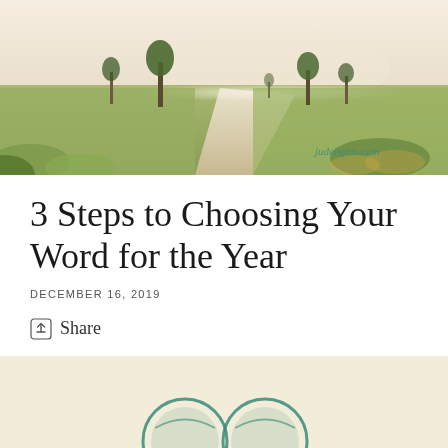[Figure (photo): Misty country road with trees on either side, green fields, warm beige/golden tones. Watermark text 'judelights.com' in teal in lower right corner.]
3 Steps to Choosing Your Word for the Year
DECEMBER 16, 2019
Share
[Figure (illustration): Partial illustration visible at bottom of page, beige/cream background with teal/green decorative elements.]